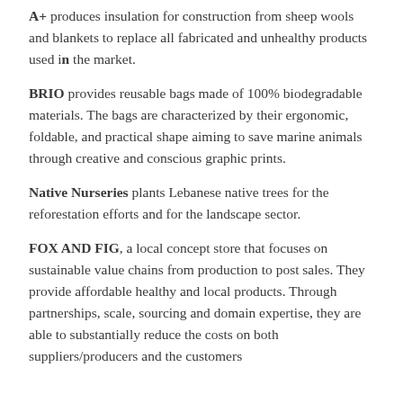A+ produces insulation for construction from sheep wools and blankets to replace all fabricated and unhealthy products used in the market.
BRIO provides reusable bags made of 100% biodegradable materials. The bags are characterized by their ergonomic, foldable, and practical shape aiming to save marine animals through creative and conscious graphic prints.
Native Nurseries plants Lebanese native trees for the reforestation efforts and for the landscape sector.
FOX AND FIG, a local concept store that focuses on sustainable value chains from production to post sales. They provide affordable healthy and local products. Through partnerships, scale, sourcing and domain expertise, they are able to substantially reduce the costs on both suppliers/producers and the customers